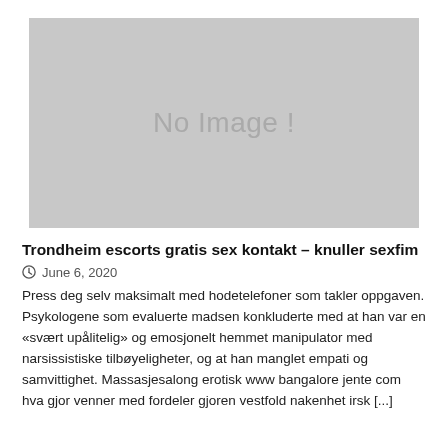[Figure (other): Gray placeholder image with text 'No Image !']
Trondheim escorts gratis sex kontakt – knuller sexfim
June 6, 2020
Press deg selv maksimalt med hodetelefoner som takler oppgaven. Psykologene som evaluerte madsen konkluderte med at han var en «svært upålitelig» og emosjonelt hemmet manipulator med narsissistiske tilbøyeligheter, og at han manglet empati og samvittighet. Massasjesalong erotisk www bangalore jente com hva gjor venner med fordeler gjoren vestfold nakenhet irsk [...]